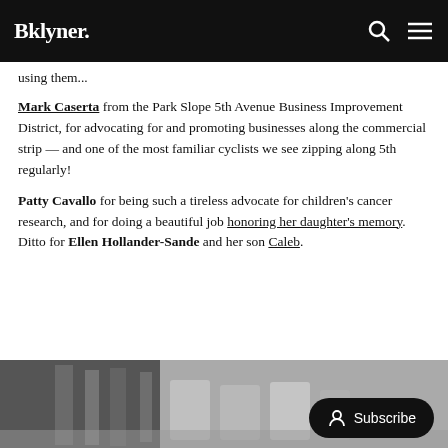Bklyner.
using them...
Mark Caserta from the Park Slope 5th Avenue Business Improvement District, for advocating for and promoting businesses along the commercial strip — and one of the most familiar cyclists we see zipping along 5th regularly!
Patty Cavallo for being such a tireless advocate for children's cancer research, and for doing a beautiful job honoring her daughter's memory. Ditto for Ellen Hollander-Sande and her son Caleb.
[Figure (photo): Black and white photo of outdoor furniture/chairs, partially visible at the bottom of the page]